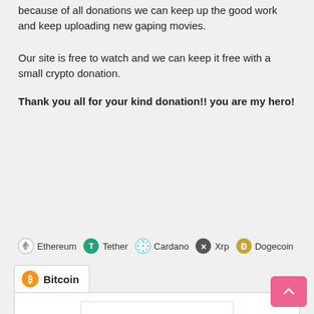because of all donations we can keep up the good work and keep uploading new gaping movies.
Our site is free to watch and we can keep it free with a small crypto donation.
Thank you all for your kind donation!! you are my hero!
[Figure (infographic): Cryptocurrency donation tabs showing icons for Ethereum, Tether, Cardano, Xrp, Dogecoin, and Bitcoin (active tab) with a QR code for Bitcoin donations and a scroll-to-top button.]